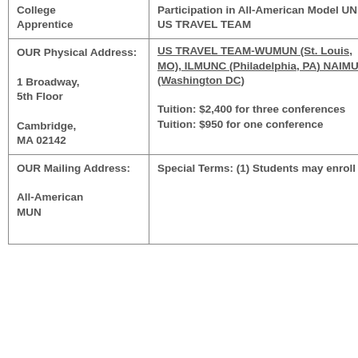| College Apprentice | Participation in All-American Model UN US TRAVEL TEAM |
| OUR Physical Address:

1 Broadway, 5th Floor

Cambridge, MA 02142 | US TRAVEL TEAM-WUMUN (St. Louis, MO), ILMUNC (Philadelphia, PA) NAIMUN (Washington DC)

Tuition: $2,400 for three conferences
Tuition: $950 for one conference |
| OUR Mailing Address:

All-American MUN | Special Terms: (1) Students may enroll in |